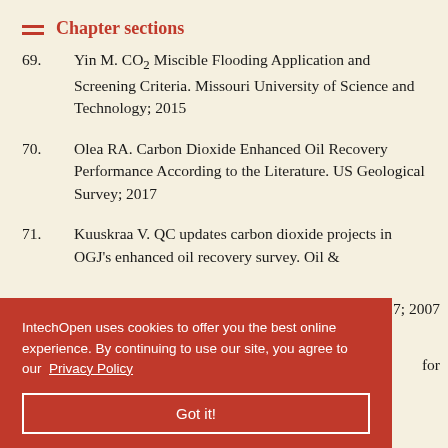Chapter sections
69. Yin M. CO₂ Miscible Flooding Application and Screening Criteria. Missouri University of Science and Technology; 2015
70. Olea RA. Carbon Dioxide Enhanced Oil Recovery Performance According to the Literature. US Geological Survey; 2017
71. Kuuskraa V. QC updates carbon dioxide projects in OGJ's enhanced oil recovery survey. Oil & …er 17; 2007
…for evaluation of the CO₂ miscible flooding…
IntechOpen uses cookies to offer you the best online experience. By continuing to use our site, you agree to our Privacy Policy
Got it!